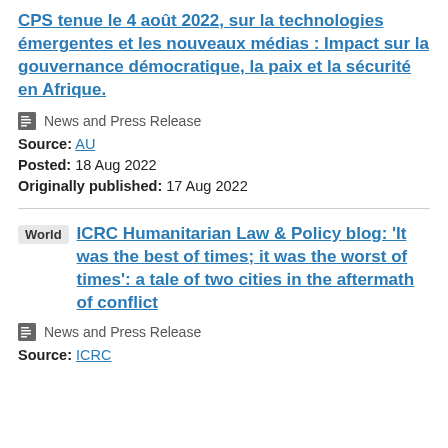CPS tenue le 4 août 2022, sur la technologies émergentes et les nouveaux médias : Impact sur la gouvernance démocratique, la paix et la sécurité en Afrique.
News and Press Release
Source: AU
Posted: 18 Aug 2022
Originally published: 17 Aug 2022
World
ICRC Humanitarian Law & Policy blog: 'It was the best of times; it was the worst of times': a tale of two cities in the aftermath of conflict
News and Press Release
Source: ICRC